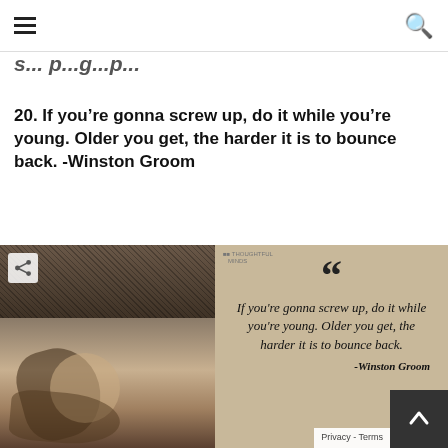[hamburger menu] [search icon]
s... p... g... p... (partial page title, cut off)
20. If you’re gonna screw up, do it while you’re young. Older you get, the harder it is to bounce back. -Winston Groom
[Figure (photo): Left half: sepia-toned black and white photograph of hands being held together, one young and one elderly, with a mesh/lace fabric visible. A share icon button overlays the top-left corner. Right half: beige/tan background with large quotation marks and italic text reading 'If you're gonna screw up, do it while you're young. Older you get, the harder it is to bounce back. -Winston Groom']
Privacy - Terms